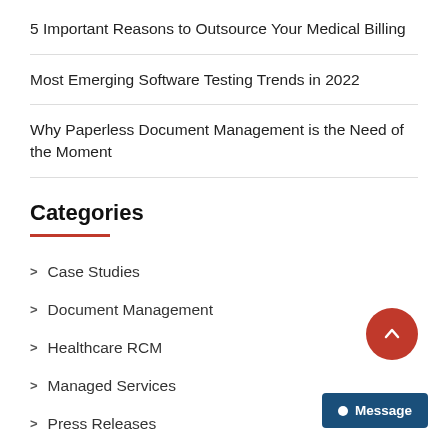5 Important Reasons to Outsource Your Medical Billing
Most Emerging Software Testing Trends in 2022
Why Paperless Document Management is the Need of the Moment
Categories
Case Studies
Document Management
Healthcare RCM
Managed Services
Press Releases